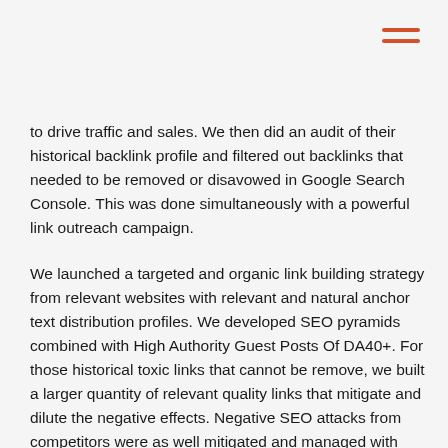to drive traffic and sales. We then did an audit of their historical backlink profile and filtered out backlinks that needed to be removed or disavowed in Google Search Console. This was done simultaneously with a powerful link outreach campaign.
We launched a targeted and organic link building strategy from relevant websites with relevant and natural anchor text distribution profiles. We developed SEO pyramids combined with High Authority Guest Posts Of DA40+. For those historical toxic links that cannot be remove, we built a larger quantity of relevant quality links that mitigate and dilute the negative effects. Negative SEO attacks from competitors were as well mitigated and managed with ongoing link building efforts.
After attaining tremendous results within 1 year into the SEO campaign, consistent maintenance and on-site updates and regular organic link building ensured their rankings stayed up